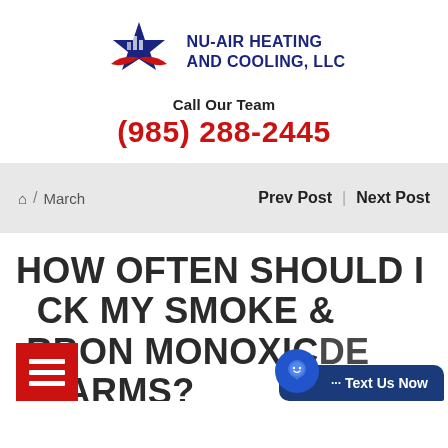[Figure (logo): Nu-Air Heating and Cooling LLC logo with star emblem in red, white and blue]
Call Our Team
(985) 288-2445
🏠 / March   Prev Post | Next Post
HOW OFTEN SHOULD I CHECK MY SMOKE & CARBON MONOXIDE ALARMS?